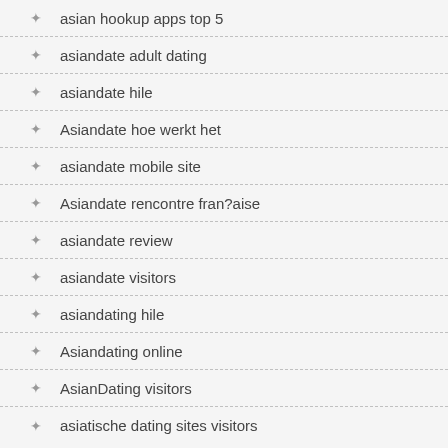asian hookup apps top 5
asiandate adult dating
asiandate hile
Asiandate hoe werkt het
asiandate mobile site
Asiandate rencontre fran?aise
asiandate review
asiandate visitors
asiandating hile
Asiandating online
AsianDating visitors
asiatische dating sites visitors